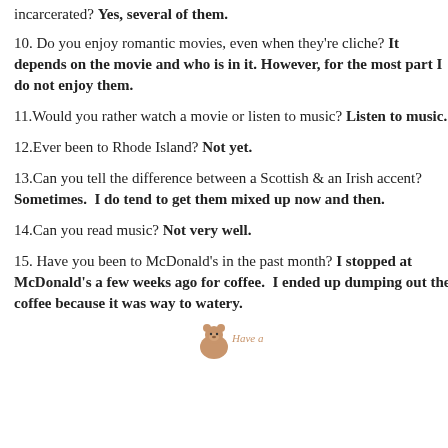incarcerated? Yes, several of them.
10. Do you enjoy romantic movies, even when they're cliche? It depends on the movie and who is in it. However, for the most part I do not enjoy them.
11.Would you rather watch a movie or listen to music? Listen to music.
12.Ever been to Rhode Island? Not yet.
13.Can you tell the difference between a Scottish & an Irish accent? Sometimes.  I do tend to get them mixed up now and then.
14.Can you read music? Not very well.
15. Have you been to McDonald's in the past month? I stopped at McDonald's a few weeks ago for coffee.  I ended up dumping out the coffee because it was way to watery.
[Figure (illustration): Small bear/animal illustration with text 'Have a']